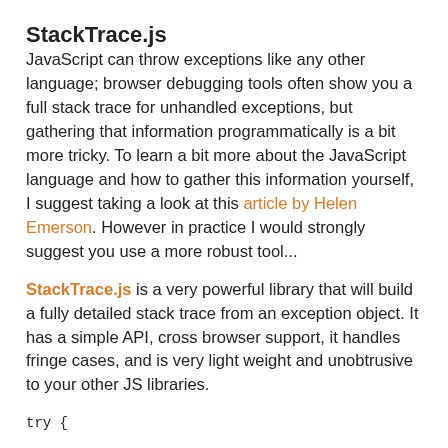StackTrace.js
JavaScript can throw exceptions like any other language; browser debugging tools often show you a full stack trace for unhandled exceptions, but gathering that information programmatically is a bit more tricky. To learn a bit more about the JavaScript language and how to gather this information yourself, I suggest taking a look at this article by Helen Emerson. However in practice I would strongly suggest you use a more robust tool...
StackTrace.js is a very powerful library that will build a fully detailed stack trace from an exception object. It has a simple API, cross browser support, it handles fringe cases, and is very light weight and unobtrusive to your other JS libraries.